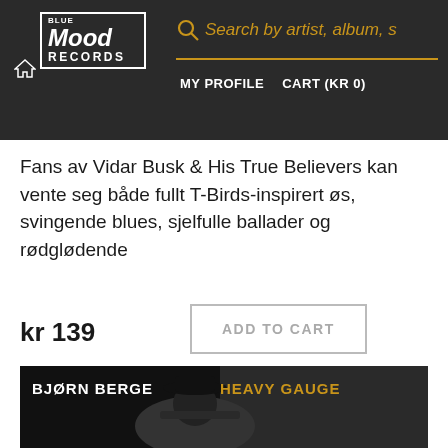Blue Mood Records | Search by artist, album, s | MY PROFILE | CART (KR 0)
Fans av Vidar Busk & His True Believers kan vente seg både fullt T-Birds-inspirert øs, svingende blues, sjelfulle ballader og rødglødende
kr 139
ADD TO CART
[Figure (photo): Album cover for Bjørn Berge - Heavy Gauge: black and white photo of a man in a hat playing guitar, with the text BJØRN BERGE and HEAVY GAUGE overlaid.]